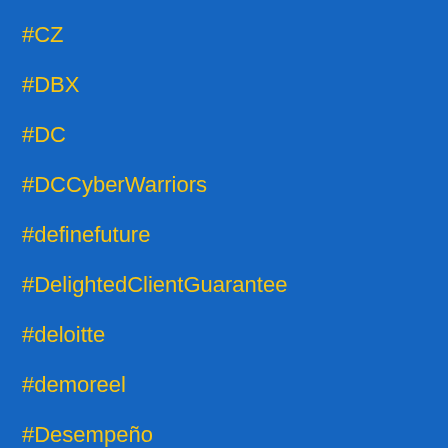#CZ
#DBX
#DC
#DCCyberWarriors
#definefuture
#DelightedClientGuarantee
#deloitte
#demoreel
#Desempeño
#design